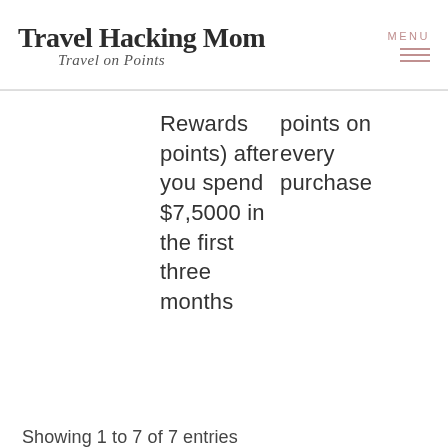Travel Hacking Mom — Travel on Points | MENU
Rewards points) after you spend $7,5000 in the first three months   points on every purchase
Showing 1 to 7 of 7 entries